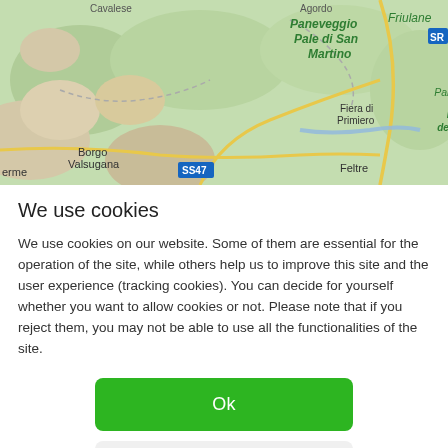[Figure (map): Geographic map showing the Dolomites/Italian Alps region with labels including Paneveggio Pale di San Martino, Agordo, Friulane, Fiera di Primiero, Parco Nazionale delle Dolomiti Bellunesi, Belluno, SS51, Borgo Valsugana, SS47, Feltre, erme]
We use cookies
We use cookies on our website. Some of them are essential for the operation of the site, while others help us to improve this site and the user experience (tracking cookies). You can decide for yourself whether you want to allow cookies or not. Please note that if you reject them, you may not be able to use all the functionalities of the site.
Ok
Decline
More information